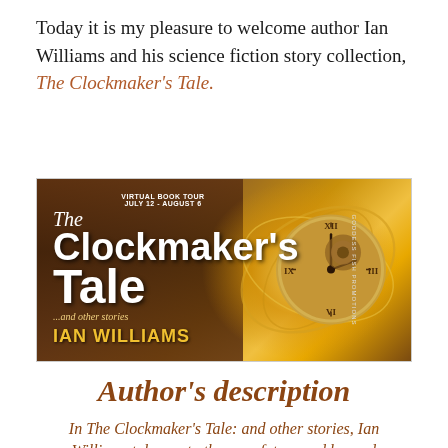Today it is my pleasure to welcome author Ian Williams and his science fiction story collection, The Clockmaker's Tale.
[Figure (illustration): Book banner for 'The Clockmaker's Tale' by Ian Williams. Dark brown/golden background with glowing swirl effects. White bold text reads 'The Clockmaker's Tale'. Gold text reads 'IAN WILLIAMS'. Small text says '...and other stories'. Top reads 'VIRTUAL BOOK TOUR JULY 12 - AUGUST 6'. Right side has 'GODDESS FISH PROMOTIONS' vertically. A large ornate clock face visible on the right side.]
Author's description
In The Clockmaker's Tale: and other stories, Ian Williams takes us to the near future and beyond